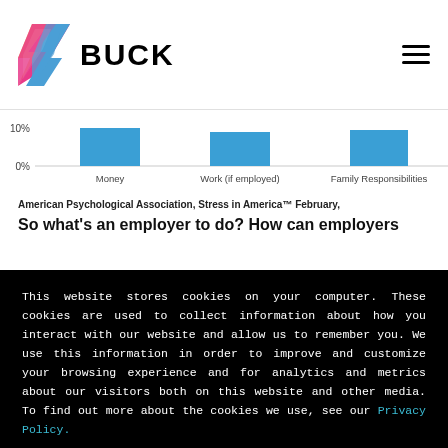BUCK
[Figure (bar-chart): Partial bar chart showing stress sources: Money, Work (if employed), Family Responsibilities, Health Concerns. Bars are blue, y-axis shows 0% and 10%.]
American Psychological Association, Stress in America™ February,
So what's an employer to do? How can employers
This website stores cookies on your computer. These cookies are used to collect information about how you interact with our website and allow us to remember you. We use this information in order to improve and customize your browsing experience and for analytics and metrics about our visitors both on this website and other media. To find out more about the cookies we use, see our Privacy Policy.

If you decline, your information won't be tracked when you visit this website. A single cookie will be used in your browser to remember your preference not to be tracked.
Accept
Decline